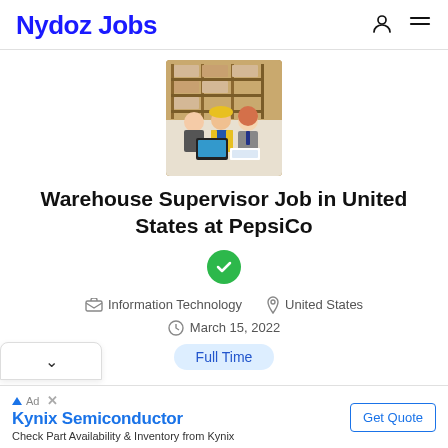Nydoz Jobs
[Figure (photo): Warehouse workers around a computer monitor in a warehouse setting with shelving and boxes in background]
Warehouse Supervisor Job in United States at PepsiCo
Information Technology   United States   March 15, 2022
Full Time
Kynix Semiconductor
Check Part Availability & Inventory from Kynix
Get Quote